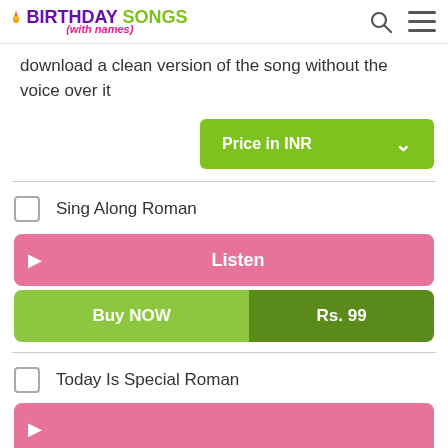BIRTHDAY SONGS (with names)
download a clean version of the song without the voice over it
Price in INR
Sing Along Roman
Listen
Buy NOW Rs. 99
Today Is Special Roman